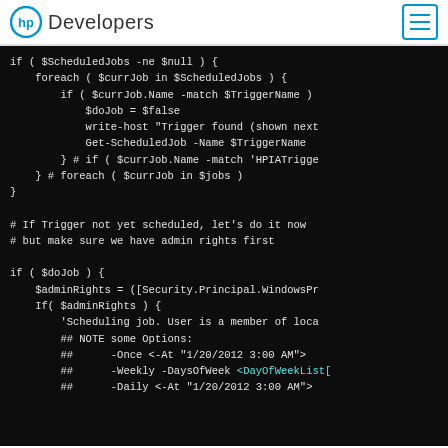HP Developers
if ( $ScheduledJobs -ne $null ) {
    foreach ( $currJob in $ScheduledJobs ) {
        if ( $currJob.Name -match $TriggerName )
            $doJob = $false
            write-host "Trigger found (shown next
            Get-ScheduledJob -Name $TriggerName
        } # if ( $currJob.Name -match 'HPIATrigge
    } # foreach ( $currJob in $jobs )
}

# If Trigger not yet scheduled, let's do it now
# but make sure we have admin rights first

if ( $doJob ) {
    $adminRights = ([Security.Principal.WindowsPr
    If( $adminRights ) {
        'Scheduling job. User is a member of loca
        ## NOTE some Options:
        ##      -Once <-At "1/20/2012 3:00 AM">
        ##      -Weekly -DaysOfWeek <DayOfWeekList[
        ##      -Daily <-At "1/20/2012 3:00 AM">